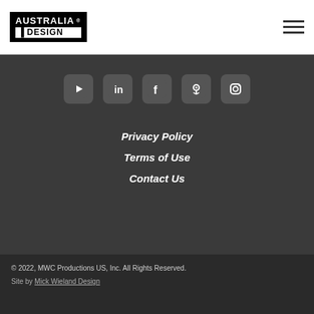[Figure (logo): Australia by Design logo — white text on black background]
[Figure (infographic): Hamburger menu icon (three horizontal lines)]
[Figure (infographic): Social media icons row: YouTube, LinkedIn, Facebook, Podcast, Instagram on dark background]
Privacy Policy
Terms of Use
Contact Us
© 2022, MWC Productions US, Inc. All Rights Reserved.
Site by Mick Wieland Design